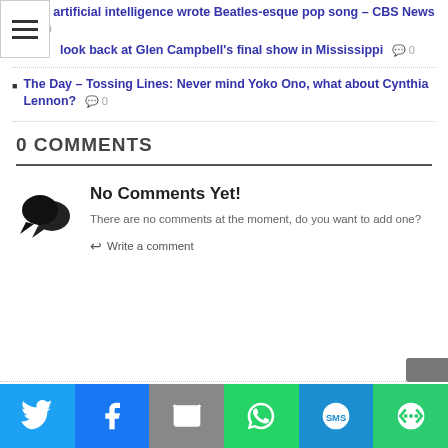How artificial intelligence wrote Beatles-esque pop song – CBS News  0
look back at Glen Campbell's final show in Mississippi  0
The Day – Tossing Lines: Never mind Yoko Ono, what about Cynthia Lennon?  0
0 COMMENTS
No Comments Yet!
There are no comments at the moment, do you want to add one?
Write a comment